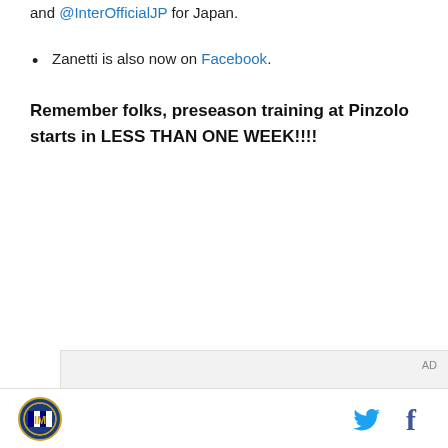and @InterOfficialJP for Japan.
Zanetti is also now on Facebook.
Remember folks, preseason training at Pinzolo starts in LESS THAN ONE WEEK!!!!
[Figure (screenshot): Advertisement area with gray background showing 'AD' label, followed by a video player showing a Samsung 'Unfold your world' advertisement with a woman in a car holding a folding phone, with a play button overlay.]
Footer bar with Inter Milan logo on the left and Twitter and Facebook icons on the right